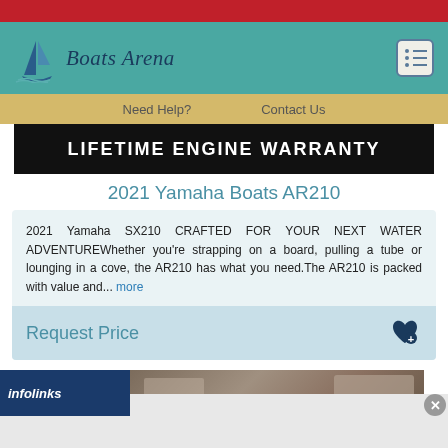[Figure (screenshot): Red top bar decoration]
[Figure (logo): Boats Arena logo with sailboat icon and cursive text on teal header background]
Need Help?   Contact Us
[Figure (screenshot): Black banner with white bold text: LIFETIME ENGINE WARRANTY]
2021 Yamaha Boats AR210
2021 Yamaha SX210 CRAFTED FOR YOUR NEXT WATER ADVENTUREWhether you're strapping on a board, pulling a tube or lounging in a cove, the AR210 has what you need.The AR210 is packed with value and... more
Request Price
[Figure (screenshot): Infolinks advertisement bar with partial vehicle image]